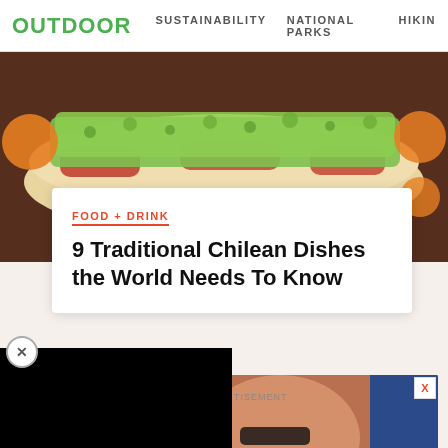OUTDOOR  SUSTAINABILITY  NATIONAL PARKS  HIKING
[Figure (photo): Close-up photo of a loaded hot dog or sandwich with green toppings (herbs/avocado), tomatoes, on a dark wooden surface]
FOOD + DRINK
9 Traditional Chilean Dishes the World Needs To Know
[Figure (screenshot): Black video player overlay in the lower-left area of the page]
ADVERTISEMENT
[Figure (photo): Advertisement banner for 'travelstoke' app showing faces of people smiling wearing sunglasses, with a DOWNLOAD button and the travelstoke logo]